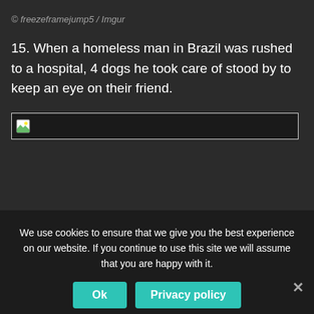© freezeframejump5 / Imgur
15. When a homeless man in Brazil was rushed to a hospital, 4 dogs he took care of stood by to keep an eye on their friend.
[Figure (photo): Broken image placeholder showing a small image icon with border]
We use cookies to ensure that we give you the best experience on our website. If you continue to use this site we will assume that you are happy with it.